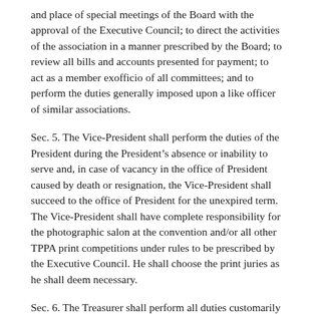and place of special meetings of the Board with the approval of the Executive Council; to direct the activities of the association in a manner prescribed by the Board; to review all bills and accounts presented for payment; to act as a member exofficio of all committees; and to perform the duties generally imposed upon a like officer of similar associations.
Sec. 5. The Vice-President shall perform the duties of the President during the President's absence or inability to serve and, in case of vacancy in the office of President caused by death or resignation, the Vice-President shall succeed to the office of President for the unexpired term. The Vice-President shall have complete responsibility for the photographic salon at the convention and/or all other TPPA print competitions under rules to be prescribed by the Executive Council. He shall choose the print juries as he shall deem necessary.
Sec. 6. The Treasurer shall perform all duties customarily the responsibility of such office. He shall keep a record of the income and disbursements and shall be the custodian of the operating funds of the Association; and shall, with the approval of the Executive Council, and on the Board of